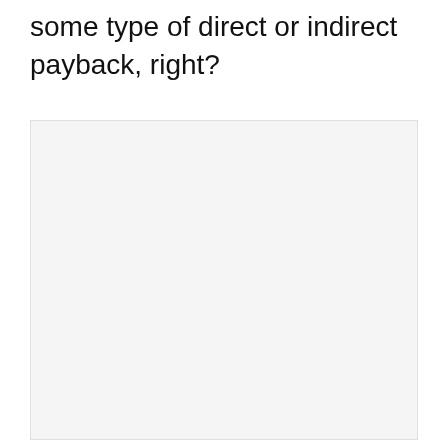…Everything you invest or buy has to have some type of direct or indirect payback, right?
[Figure (other): Large light gray box occupying the lower portion of the page, likely a placeholder for an image or media element.]